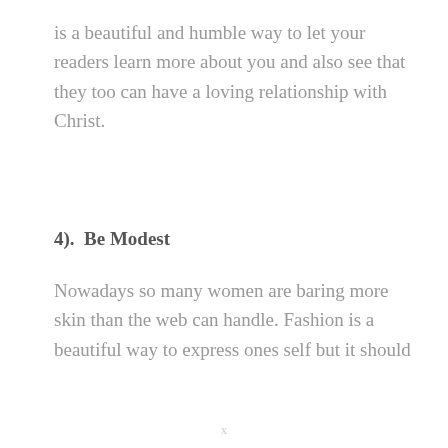is a beautiful and humble way to let your readers learn more about you and also see that they too can have a loving relationship with Christ.
4).  Be Modest
Nowadays so many women are baring more skin than the web can handle. Fashion is a beautiful way to express ones self but it should
x